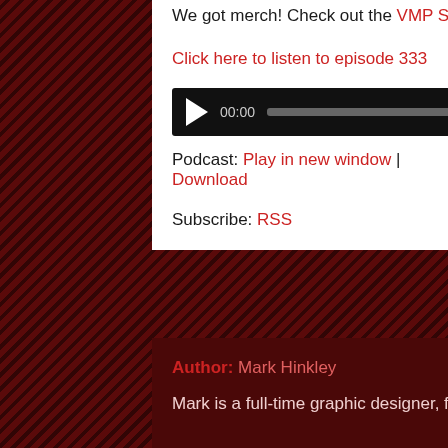We got merch! Check out the VMP Shop for all your insane nerdy football shirt needs
Click here to listen to episode 333
[Figure (other): Audio player widget with play button, time counter showing 00:00, progress bar, and duration 00:00 on black background]
Podcast: Play in new window | Download
Subscribe: RSS
Author: Mark Hinkley
Mark is a full-time graphic designer, full-time smart ass and